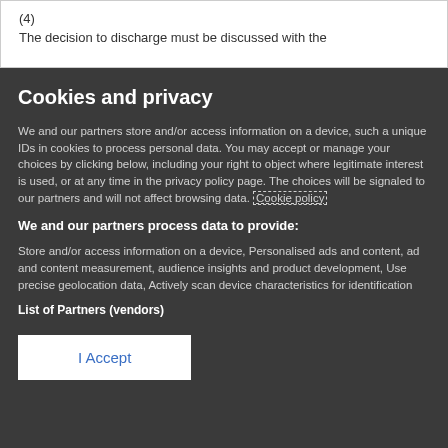(4)
The decision to discharge must be discussed with the
Cookies and privacy
We and our partners store and/or access information on a device, such a unique IDs in cookies to process personal data. You may accept or manage your choices by clicking below, including your right to object where legitimate interest is used, or at any time in the privacy policy page. These choices will be signaled to our partners and will not affect browsing data. Cookie policy
We and our partners process data to provide:
Store and/or access information on a device, Personalised ads and content, ad and content measurement, audience insights and product development, Use precise geolocation data, Actively scan device characteristics for identification
List of Partners (vendors)
I Accept